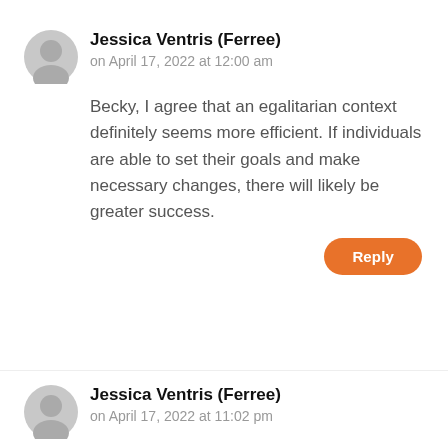Jessica Ventris (Ferree)
on April 17, 2022 at 12:00 am
Becky, I agree that an egalitarian context definitely seems more efficient. If individuals are able to set their goals and make necessary changes, there will likely be greater success.
Reply
Jessica Ventris (Ferree)
on April 17, 2022 at 11:02 pm